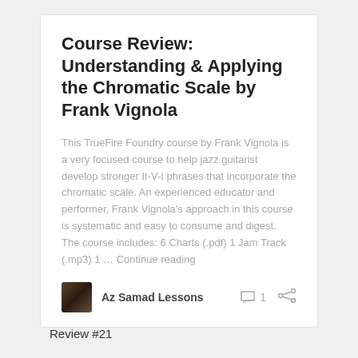Course Review: Understanding & Applying the Chromatic Scale by Frank Vignola
This TrueFire Foundry course by Frank Vignola is a very focused course to help jazz guitarist develop stronger II-V-I phrases that incorporate the chromatic scale. An experienced educator and performer, Frank Vignola’s approach in this course is systematic and easy to consume and digest. The course includes: 6 Charts (.pdf) 1 Jam Track (.mp3) 1 … Continue reading
Az Samad Lessons
Review #21